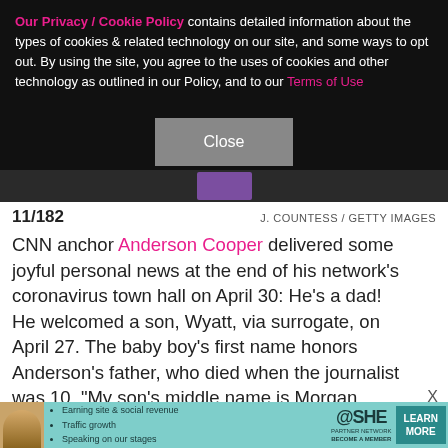Our Privacy / Cookie Policy contains detailed information about the types of cookies & related technology on our site, and some ways to opt out. By using the site, you agree to the uses of cookies and other technology as outlined in our Policy, and to our Terms of Use
[Figure (screenshot): Close button overlay on dark background with partial photo of person visible below]
11/182  J. COUNTESS / GETTY IMAGES
CNN anchor Anderson Cooper delivered some joyful personal news at the end of his network's coronavirus town hall on April 30: He's a dad! He welcomed a son, Wyatt, via surrogate, on April 27. The baby boy's first name honors Anderson's father, who died when the journalist was 10. "My son's middle name is Morgan, which is a family name on my mom [Gloria Vanderbilt]
[Figure (infographic): SHE Partner Network advertisement banner with woman photo, bullet points about earning site & social revenue, traffic growth, speaking on stages, SHE logo, and Learn More button]